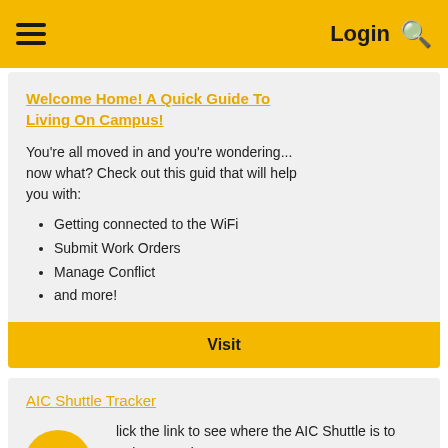≡  Login 🔍
Welcome Home! A Quick Guide To Living On Campus!
You're all moved in and you're wondering... now what? Check out this guid that will help you with:
Getting connected to the WiFi
Submit Work Orders
Manage Conflict
and more!
Visit
AIC Shuttle Tracker
Click the link to see where the AIC Shuttle is to plan your day! You can also download the Ride Systems App on your smartphone for immediate access.